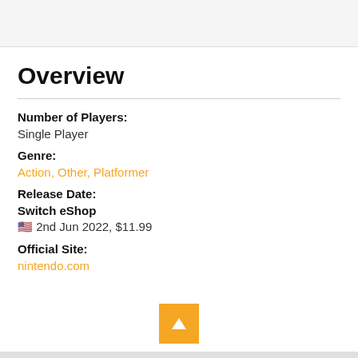Overview
Number of Players:
Single Player
Genre:
Action, Other, Platformer
Release Date:
Switch eShop
🇺🇸 2nd Jun 2022, $11.99
Official Site:
nintendo.com